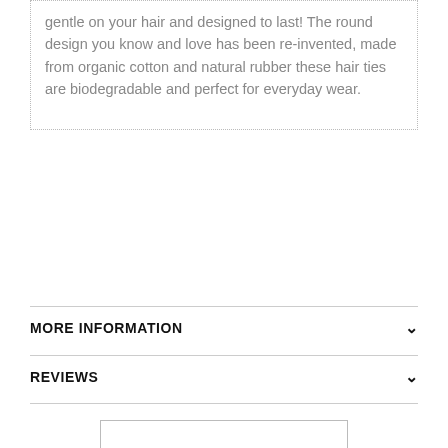gentle on your hair and designed to last! The round design you know and love has been re-invented, made from organic cotton and natural rubber these hair ties are biodegradable and perfect for everyday wear.
MORE INFORMATION
REVIEWS
MADE FROM
SHIPPING & RETURNS
MADE IN